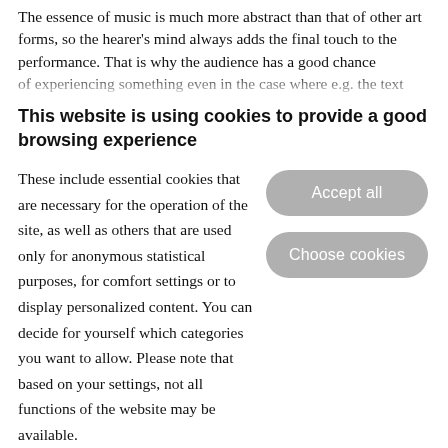The essence of music is much more abstract than that of other art forms, so the hearer's mind always adds the final touch to the performance. That is why the audience has a good chance of experiencing something even in the case where e.g. the text
This website is using cookies to provide a good browsing experience
These include essential cookies that are necessary for the operation of the site, as well as others that are used only for anonymous statistical purposes, for comfort settings or to display personalized content. You can decide for yourself which categories you want to allow. Please note that based on your settings, not all functions of the website may be available.